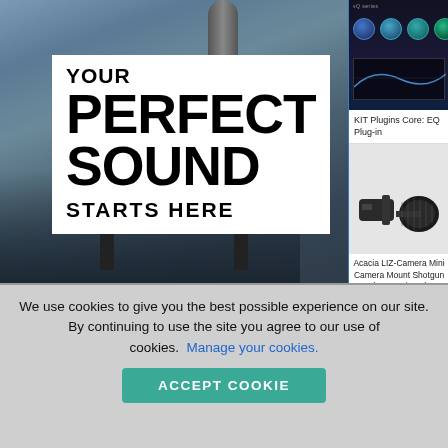[Figure (photo): Studio recording scene with man playing guitar, headphones and microphone on desk, dark studio background]
YOUR PERFECT SOUND STARTS HERE
[Figure (screenshot): KIT Plugins Core EQ plug-in software interface with knobs and equalizer display]
KIT Plugins Core: EQ Plug-in
[Figure (photo): Acacia LIZ-Camera Mini Camera Mount Shotgun Condenser Microphone product photo]
Acacia LIZ-Camera Mini Camera Mount Shotgun Condenser Microphone
We use cookies to give you the best possible experience on our site. By continuing to use the site you agree to our use of cookies. Manage your cookies.
ACCEPT COOKIE